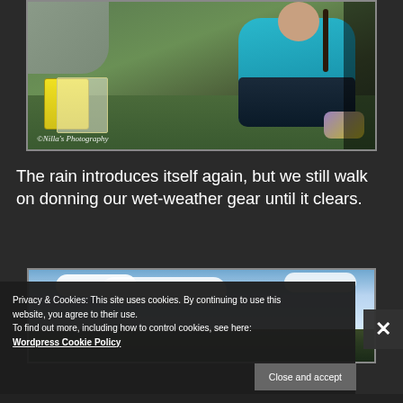[Figure (photo): Child sitting on grass near rocks, wearing a teal top and dark pants, with a yellow bag nearby. Watermark reads: ©Nilla's Photography]
The rain introduces itself again, but we still walk on donning our wet-weather gear until it clears.
[Figure (photo): Outdoor landscape photo with blue sky and white clouds, green ground below]
Privacy & Cookies: This site uses cookies. By continuing to use this website, you agree to their use.
To find out more, including how to control cookies, see here: Wordpress Cookie Policy
Close and accept